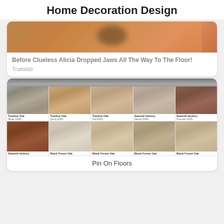Home Decoration Design
[Figure (photo): Blurred photo of a person, partially visible, warm tones]
Before Clueless Alicia Dropped Jaws All The Way To The Floor!
Traitslab
[Figure (photo): Grid of wood flooring samples: Treeline Oak Winter 22400, Treeline Oak Spring 22401, Treeline Oak Fall 22403, Sawmill Hickory Natural 22330, Sawmill Hickory Gunstock 22331, Sawmill Hickory, Black Forest Oak, Black Forest Oak, Black Forest Oak, Black Forest Oak]
Pin On Floors